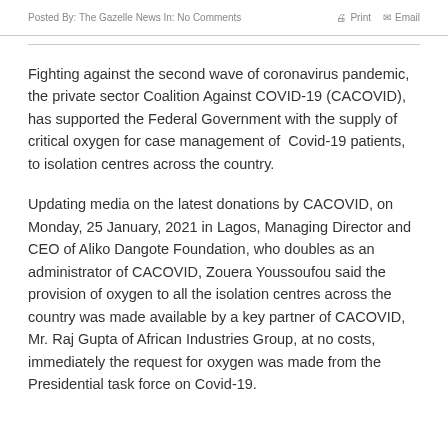Posted By: The Gazelle News  In:  No Comments    Print  Email
Fighting against the second wave of coronavirus pandemic, the private sector Coalition Against COVID-19 (CACOVID), has supported the Federal Government with the supply of critical oxygen for case management of  Covid-19 patients, to isolation centres across the country.
Updating media on the latest donations by CACOVID, on Monday, 25 January, 2021 in Lagos, Managing Director and CEO of Aliko Dangote Foundation, who doubles as an administrator of CACOVID, Zouera Youssoufou said the provision of oxygen to all the isolation centres across the country was made available by a key partner of CACOVID, Mr. Raj Gupta of African Industries Group, at no costs, immediately the request for oxygen was made from the Presidential task force on Covid-19.